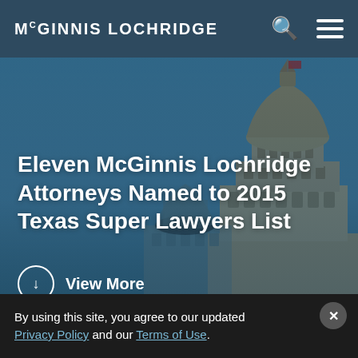MCGINNIS LOCHRIDGE
[Figure (photo): Hero image showing the Texas State Capitol building dome with blue sky background, overlaid with dark blue tint.]
Eleven McGinnis Lochridge Attorneys Named to 2015 Texas Super Lawyers List
↓ View More
By using this site, you agree to our updated Privacy Policy and our Terms of Use.